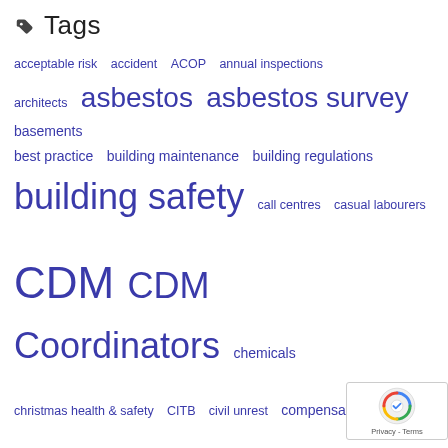Tags
acceptable risk   accident   ACOP   annual inspections   architects   asbestos   asbestos survey   basements   best practice   building maintenance   building regulations   building safety   call centres   casual labourers   CDM   CDM Coordinators   chemicals   christmas health & safety   CITB   civil unrest   compensation   concrete   construction   construction safety   consultants   contractor   coshh   court case   crackdown   cranes   danger to public   dangerous work   deaths at work   demolition   design risk assessments   designers   digger   digger training   digging   DIY building   drilling   driver training   dse